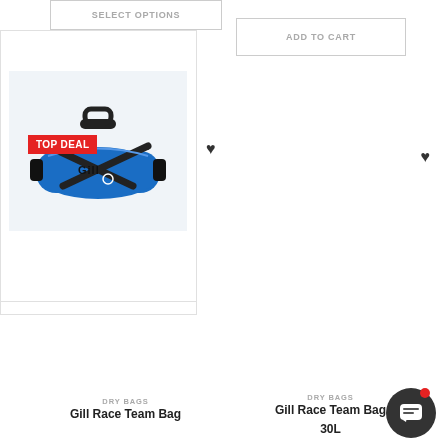[Figure (screenshot): SELECT OPTIONS button at top left]
[Figure (screenshot): ADD TO CART button at top right]
TOP DEAL
[Figure (photo): Black Gill Race Team Bag duffel bag product photo]
DRY BAGS
Gill Race Team Bag
[Figure (photo): Blue Gill Race Team Bag 30L duffel bag product photo]
DRY BAGS
Gill Race Team Bag 30L
[Figure (screenshot): Chat support button with notification dot]